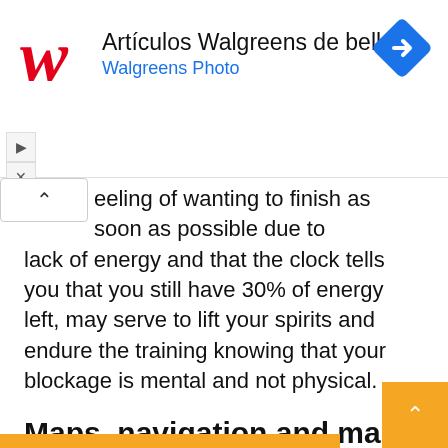[Figure (screenshot): Walgreens advertisement banner with Walgreens red script logo, text 'Artículos Walgreens de belleza' and 'Walgreens Photo' in blue, and a blue navigation diamond icon on the right]
eeling of wanting to finish as soon as possible due to lack of energy and that the clock tells you that you still have 30% of energy left, may serve to lift your spirits and endure the training knowing that your blockage is mental and not physical.
Maps, navigation and map manager
No es nuevo encontrar mapas en el tope de gama de la serie Forerunner, ya el FR945 los incluía. Pero el nuevo modelo tiene unas cuantas mejoras. Empezando por los mapas disponibles, ya que anteriormente sólo estaba disponible el mapa de la región en la que comprabas el reloj. Ahora podemos descargar mapas adicionales